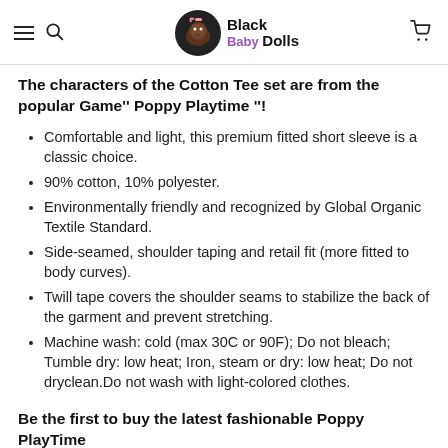Black Baby Dolls
The characters of the Cotton Tee set are from the popular Game'' Poppy Playtime ''!
Comfortable and light, this premium fitted short sleeve is a classic choice.
90% cotton, 10% polyester.
Environmentally friendly and recognized by Global Organic Textile Standard.
Side-seamed, shoulder taping and retail fit (more fitted to body curves).
Twill tape covers the shoulder seams to stabilize the back of the garment and prevent stretching.
Machine wash: cold (max 30C or 90F); Do not bleach; Tumble dry: low heat; Iron, steam or dry: low heat; Do not dryclean.Do not wash with light-colored clothes.
Be the first to buy the latest fashionable Poppy PlayTime